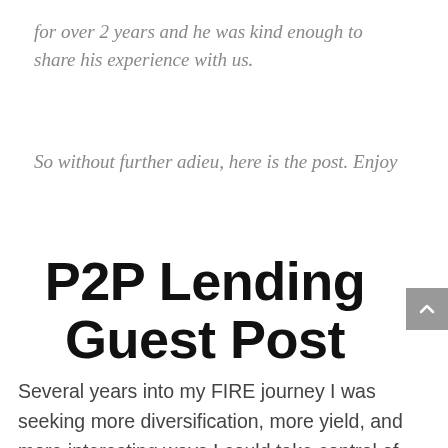for over 2 years and he was kind enough to share his experience with us.
So without further adieu, here is the post. Enjoy
P2P Lending Guest Post
Several years into my FIRE journey I was seeking more diversification, more yield, and more interesting ways I could take control of